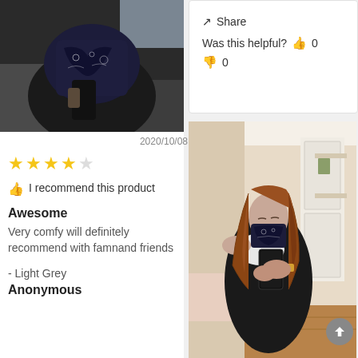[Figure (photo): Person wearing a black bandana face covering, selfie-style photo from above angle, dark clothing, couch visible in background]
2020/10/08
★★★★☆ (4 stars)
👍 I recommend this product
Awesome
Very comfy will definitely recommend with famnand friends
- Light Grey
Anonymous
Share
Was this helpful? 👍 0 👎 0
[Figure (photo): Young woman with long auburn hair wearing a black bandana face mask, taking a mirror selfie with a phone, wearing an off-shoulder white top and black jacket, room with white door and shelves in background]